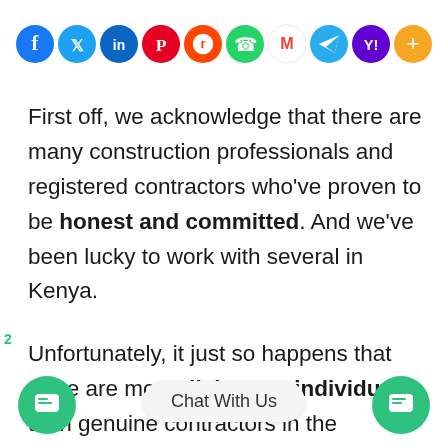[Figure (infographic): Social media share buttons row: Facebook (blue), Twitter (blue), LinkedIn (blue), Pinterest (red), Reddit (orange-red), WhatsApp (green), Gmail (red/white M), Telegram (blue), Yahoo (purple), More/Plus (orange)]
First off, we acknowledge that there are many construction professionals and registered contractors who’ve proven to be honest and committed. And we’ve been lucky to work with several in Kenya.
Unfortunately, it just so happens that there are more dishonest individuals than genuine contractors in the construction industry. As a result, developers typically lose more than